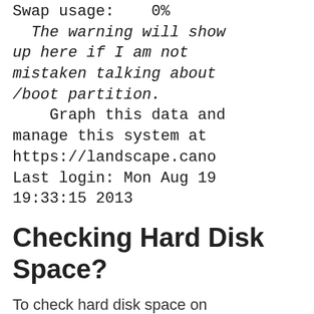Swap usage:   0%
  The warning will show up here if I am not mistaken talking about /boot partition.
    Graph this data and manage this system at https://landscape.cano
Last login: Mon Aug 19 19:33:15 2013
Checking Hard Disk Space?
To check hard disk space on